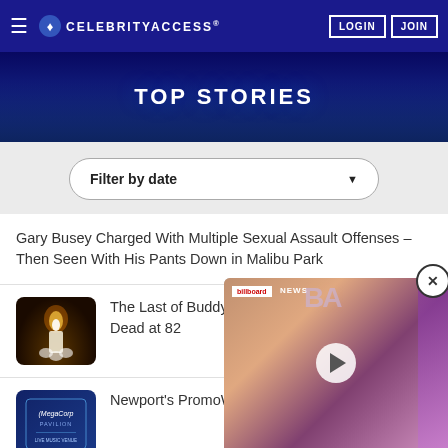CELEBRITYACCESS
TOP STORIES
Filter by date
Gary Busey Charged With Multiple Sexual Assault Offenses – Then Seen With His Pants Down in Malibu Park
The Last of Buddy Holly's Crickets, Jerry Allison, Dead at 82
Newport's PromoWest Gets a New Name – Meg…
[Figure (screenshot): Billboard NEWS video overlay showing two people, with play button and close (X) button]